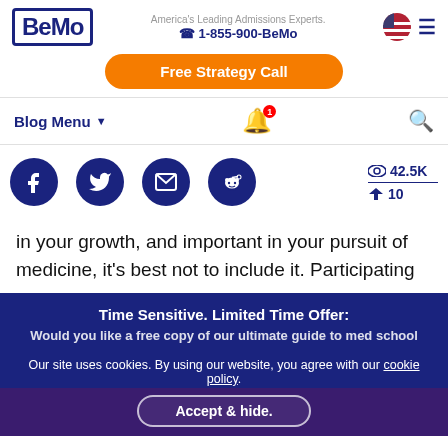America's Leading Admissions Experts. 1-855-900-BeMo
Free Strategy Call
Blog Menu
42.5K views, 10 shares
in your growth, and important in your pursuit of medicine, it's best not to include it. Participating
Time Sensitive. Limited Time Offer:
Would you like a free copy of our ultimate guide to med school applications.
Our site uses cookies. By using our website, you agree with our cookie policy.
Accept & hide.